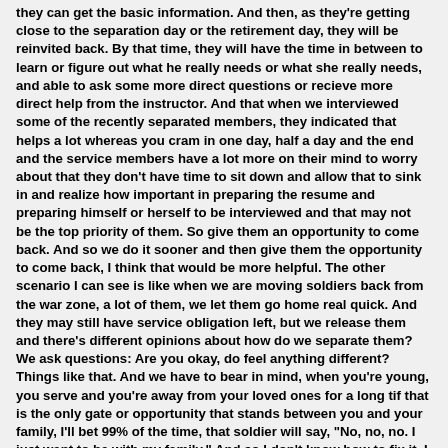they can get the basic information. And then, as they're getting close to the separation day or the retirement day, they will be reinvited back. By that time, they will have the time in between to learn or figure out what he really needs or what she really needs, and able to ask some more direct questions or recieve more direct help from the instructor. And that when we interviewed some of the recently separated members, they indicated that helps a lot whereas you cram in one day, half a day and the end and the service members have a lot more on their mind to worry about that they don't have time to sit down and allow that to sink in and realize how important in preparing the resume and preparing himself or herself to be interviewed and that may not be the top priority of them. So give them an opportunity to come back. And so we do it sooner and then give them the opportunity to come back, I think that would be more helpful. The other scenario I can see is like when we are moving soldiers back from the war zone, a lot of them, we let them go home real quick. And they may still have service obligation left, but we release them and there's different opinions about how do we separate them? We ask questions: Are you okay, do feel anything different? Things like that. And we have to bear in mind, when you're young, you serve and you're away from your loved ones for a long tif that is the only gate or opportunity that stands between you and your family, I'll bet 99% of the time, that soldier will say, "No, no, no. I just want to be with my family." And so I don't know how to fix it. I don't know whether we should keep them a little bit longer or make it mandatory but that is something we need to look forward to.